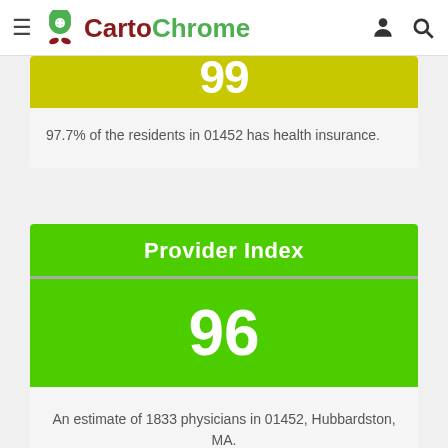CartoChrome
97.7% of the residents in 01452 has health insurance.
Provider Index
96
An estimate of 1833 physicians in 01452, Hubbardston, MA.